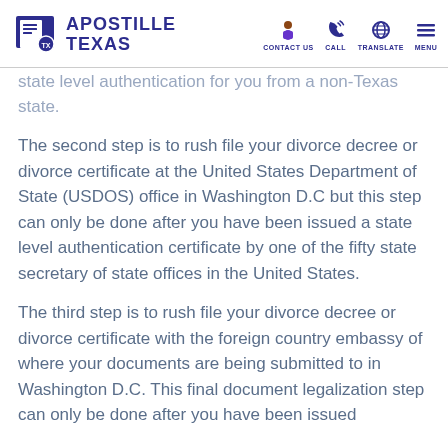APOSTILLE TEXAS | CONTACT US | CALL | TRANSLATE | MENU
state level authentication for you from a non-Texas state.
The second step is to rush file your divorce decree or divorce certificate at the United States Department of State (USDOS) office in Washington D.C but this step can only be done after you have been issued a state level authentication certificate by one of the fifty state secretary of state offices in the United States.
The third step is to rush file your divorce decree or divorce certificate with the foreign country embassy of where your documents are being submitted to in Washington D.C. This final document legalization step can only be done after you have been issued